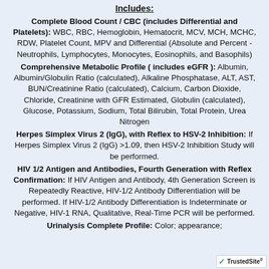Includes:
Complete Blood Count / CBC (includes Differential and Platelets): WBC, RBC, Hemoglobin, Hematocrit, MCV, MCH, MCHC, RDW, Platelet Count, MPV and Differential (Absolute and Percent - Neutrophils, Lymphocytes, Monocytes, Eosinophils, and Basophils)
Comprehensive Metabolic Profile ( includes eGFR ): Albumin, Albumin/Globulin Ratio (calculated), Alkaline Phosphatase, ALT, AST, BUN/Creatinine Ratio (calculated), Calcium, Carbon Dioxide, Chloride, Creatinine with GFR Estimated, Globulin (calculated), Glucose, Potassium, Sodium, Total Bilirubin, Total Protein, Urea Nitrogen
Herpes Simplex Virus 2 (IgG), with Reflex to HSV-2 Inhibition: If Herpes Simplex Virus 2 (IgG) >1.09, then HSV-2 Inhibition Study will be performed.
HIV 1/2 Antigen and Antibodies, Fourth Generation with Reflex Confirmation: If HIV Antigen and Antibody, 4th Generation Screen is Repeatedly Reactive, HIV-1/2 Antibody Differentiation will be performed. If HIV-1/2 Antibody Differentiation is Indeterminate or Negative, HIV-1 RNA, Qualitative, Real-Time PCR will be performed.
Urinalysis Complete Profile: Color; appearance;